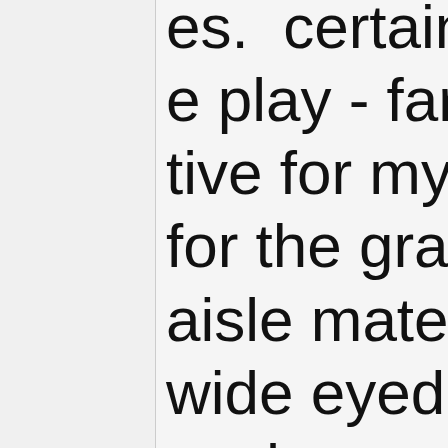es.  certainly e play - far t tive for my t for the gray aisle mates wide eyed a oach.  me d - heels, dres